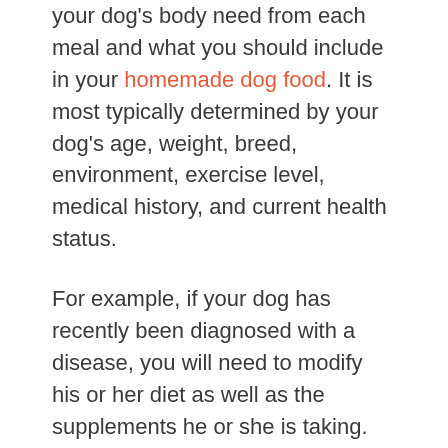your dog's body need from each meal and what you should include in your homemade dog food. It is most typically determined by your dog's age, weight, breed, environment, exercise level, medical history, and current health status.
For example, if your dog has recently been diagnosed with a disease, you will need to modify his or her diet as well as the supplements he or she is taking.